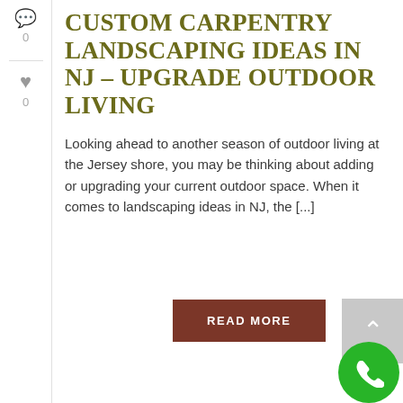CUSTOM CARPENTRY LANDSCAPING IDEAS IN NJ – UPGRADE OUTDOOR LIVING
Looking ahead to another season of outdoor living at the Jersey shore, you may be thinking about adding or upgrading your current outdoor space. When it comes to landscaping ideas in NJ, the [...]
READ MORE